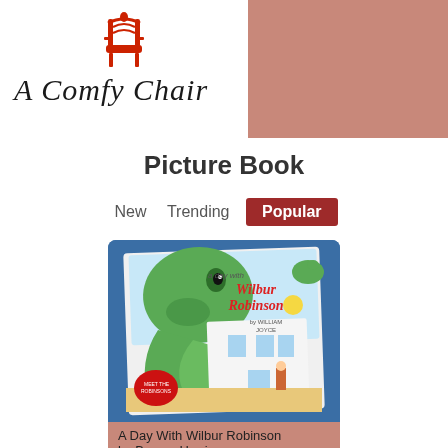[Figure (logo): A Comfy Chair blog logo with a red ornate chair icon and cursive/hand-lettered text reading 'A Comfy Chair' on white background, set against a dusty rose/salmon colored banner]
Picture Book
New   Trending   Popular
[Figure (photo): Book cover of 'A Day With Wilbur Robinson' by William Joyce, showing a large friendly green dinosaur/monster against a white house background with a child and plant, photographed on a blue surface]
A Day With Wilbur Robinson
by Bryony Harrison